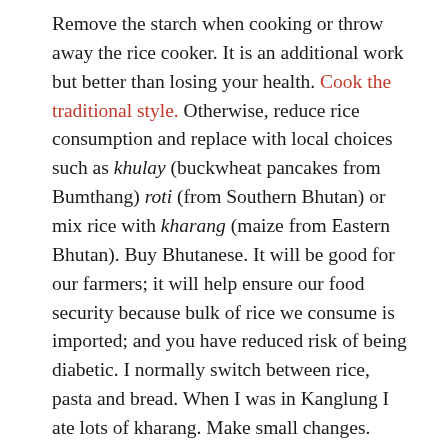Remove the starch when cooking or throw away the rice cooker. It is an additional work but better than losing your health. Cook the traditional style. Otherwise, reduce rice consumption and replace with local choices such as khulay (buckwheat pancakes from Bumthang) roti (from Southern Bhutan) or mix rice with kharang (maize from Eastern Bhutan). Buy Bhutanese. It will be good for our farmers; it will help ensure our food security because bulk of rice we consume is imported; and you have reduced risk of being diabetic. I normally switch between rice, pasta and bread. When I was in Kanglung I ate lots of kharang. Make small changes. Take baby steps. Don’t jump from rice to kharang in one day. Your body will go mad.
2. Be careful with salt. Salt is cheap and